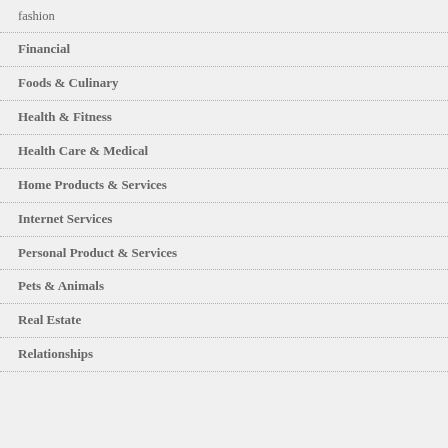fashion
Financial
Foods & Culinary
Health & Fitness
Health Care & Medical
Home Products & Services
Internet Services
Personal Product & Services
Pets & Animals
Real Estate
Relationships